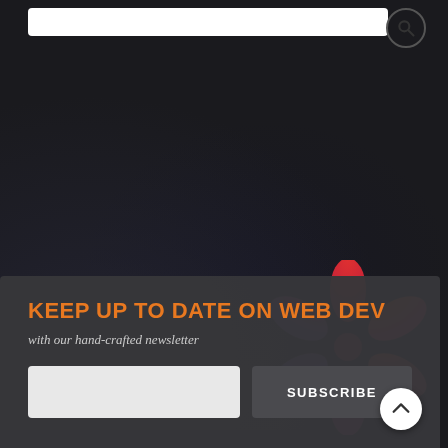[Figure (screenshot): Dark website UI with search bar at top, decorative asterisk/star logo graphic in red-to-pink gradient, and a newsletter subscription panel at the bottom with orange heading, subtitle text, email input field, and subscribe button.]
KEEP UP TO DATE ON WEB DEV
with our hand-crafted newsletter